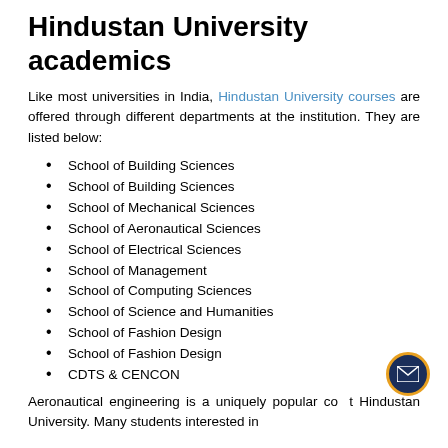Hindustan University academics
Like most universities in India, Hindustan University courses are offered through different departments at the institution. They are listed below:
School of Building Sciences
School of Building Sciences
School of Mechanical Sciences
School of Aeronautical Sciences
School of Electrical Sciences
School of Management
School of Computing Sciences
School of Science and Humanities
School of Fashion Design
School of Fashion Design
CDTS & CENCON
Aeronautical engineering is a uniquely popular co... Hindustan University. Many students interested in